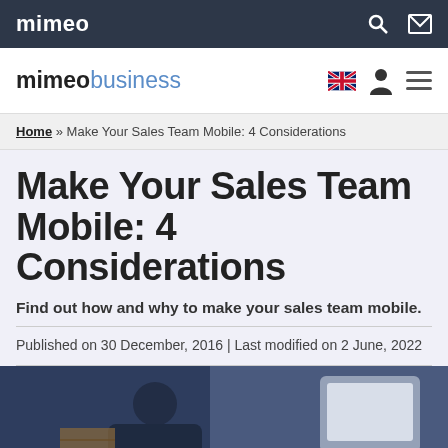mimeo
mimeo business
Home » Make Your Sales Team Mobile: 4 Considerations
Make Your Sales Team Mobile: 4 Considerations
Find out how and why to make your sales team mobile.
Published on 30 December, 2016 | Last modified on 2 June, 2022
[Figure (photo): Photo of person using a tablet device in an office or business setting]